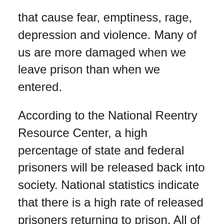that cause fear, emptiness, rage, depression and violence. Many of us are more damaged when we leave prison than when we entered.
According to the National Reentry Resource Center, a high percentage of state and federal prisoners will be released back into society. National statistics indicate that there is a high rate of released prisoners returning to prison. All of those who leave are older, some smarter, but all of us are less able to be productive in the society at large or good for our communities or our families. It is very hard for former prisoners to get jobs.
Prison presents an opportunity for society to